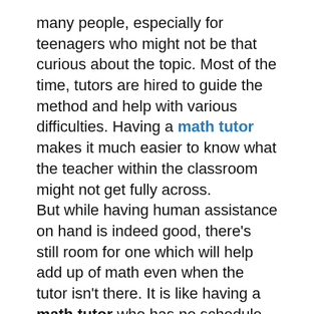many people, especially for teenagers who might not be that curious about the topic. Most of the time, tutors are hired to guide the method and help with various difficulties. Having a math tutor makes it much easier to know what the teacher within the classroom might not get fully across. But while having human assistance on hand is indeed good, there's still room for one which will help add up of math even when the tutor isn't there. It is like having a math tutor who has no schedule, does not sleep, and never gets sick.
A common scenario may be a perplexed student the night before the large test, cramming within the hopes of somehow passing it the subsequent day. You will have